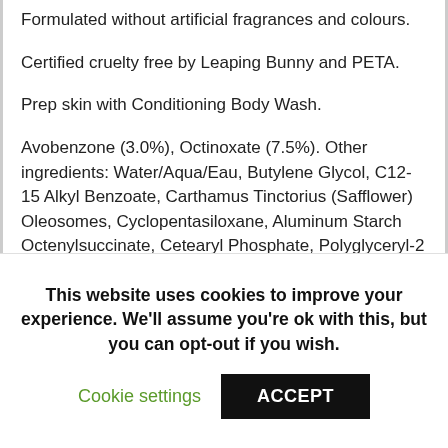Formulated without artificial fragrances and colours.
Certified cruelty free by Leaping Bunny and PETA.
Prep skin with Conditioning Body Wash.
Avobenzone (3.0%), Octinoxate (7.5%). Other ingredients: Water/Aqua/Eau, Butylene Glycol, C12-15 Alkyl Benzoate, Carthamus Tinctorius (Safflower) Oleosomes, Cyclopentasiloxane, Aluminum Starch Octenylsuccinate, Cetearyl Phosphate, Polyglyceryl-2 Stearate, Dimethyl Capramide, VP/Eicosene Copolymer, Artemisia
This website uses cookies to improve your experience. We'll assume you're ok with this, but you can opt-out if you wish.
Cookie settings
ACCEPT